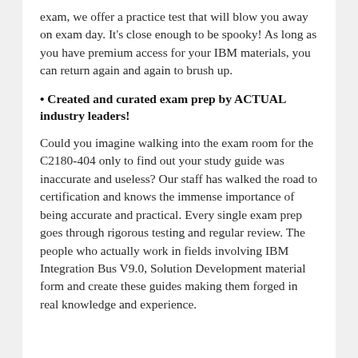exam, we offer a practice test that will blow you away on exam day. It's close enough to be spooky! As long as you have premium access for your IBM materials, you can return again and again to brush up.
• Created and curated exam prep by ACTUAL industry leaders!
Could you imagine walking into the exam room for the C2180-404 only to find out your study guide was inaccurate and useless? Our staff has walked the road to certification and knows the immense importance of being accurate and practical. Every single exam prep goes through rigorous testing and regular review. The people who actually work in fields involving IBM Integration Bus V9.0, Solution Development material form and create these guides making them forged in real knowledge and experience.